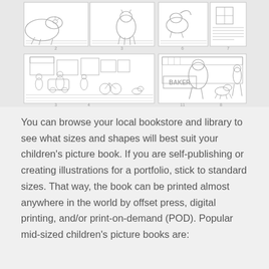[Figure (illustration): Storyboard sketches showing cartoon animals (cats) in various poses across top row panels, and busy street scenes with a bakery scene across bottom row panels. Pencil sketch style illustrations arranged in a grid of panels with numbers beneath them.]
You can browse your local bookstore and library to see what sizes and shapes will best suit your children's picture book. If you are self-publishing or creating illustrations for a portfolio, stick to standard sizes. That way, the book can be printed almost anywhere in the world by offset press, digital printing, and/or print-on-demand (POD). Popular mid-sized children's picture books are: